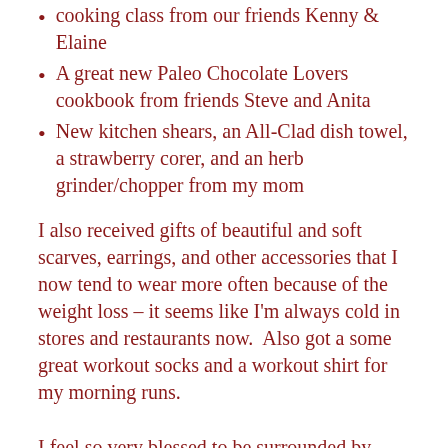cooking class from our friends Kenny & Elaine
A great new Paleo Chocolate Lovers cookbook from friends Steve and Anita
New kitchen shears, an All-Clad dish towel, a strawberry corer, and an herb grinder/chopper from my mom
I also received gifts of beautiful and soft scarves, earrings, and other accessories that I now tend to wear more often because of the weight loss – it seems like I'm always cold in stores and restaurants now.  Also got a some great workout socks and a workout shirt for my morning runs.
I feel so very blessed to be surrounded by such a supportive circle of family and friends!